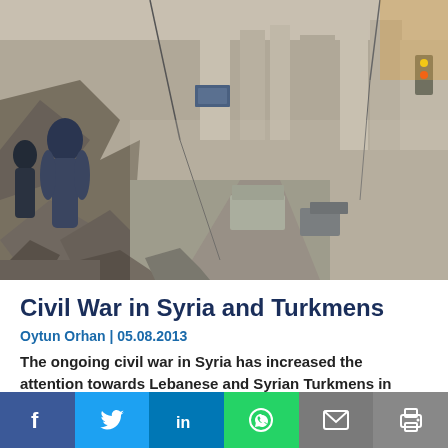[Figure (photo): War-torn Syrian street scene showing rubble, collapsed buildings, and vehicles navigating through destruction. People visible in the foreground.]
Civil War in Syria and Turkmens
Oytun Orhan | 05.08.2013
The ongoing civil war in Syria has increased the attention towards Lebanese and Syrian Turkmens in Turkey, and this situation made it possible for